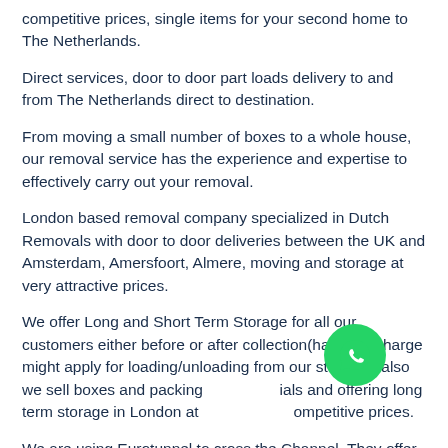competitive prices, single items for your second home to The Netherlands.
Direct services, door to door part loads delivery to and from The Netherlands direct to destination.
From moving a small number of boxes to a whole house, our removal service has the experience and expertise to effectively carry out your removal.
London based removal company specialized in Dutch Removals with door to door deliveries between the UK and Amsterdam, Amersfoort, Almere, moving and storage at very attractive prices.
We offer Long and Short Term Storage for all our customers either before or after collection(handling charge might apply for loading/unloading from our storage), also we sell boxes and packing materials and offering long term storage in London at competitive prices.
[Figure (logo): WhatsApp icon — green circle with white phone/chat logo]
We are using Eurotunnel to cross the Channel. They offer a